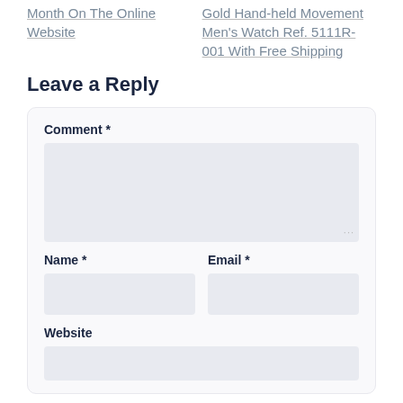Month On The Online Website
Gold Hand-held Movement Men's Watch Ref. 5111R-001 With Free Shipping
Leave a Reply
Comment *
Name *
Email *
Website